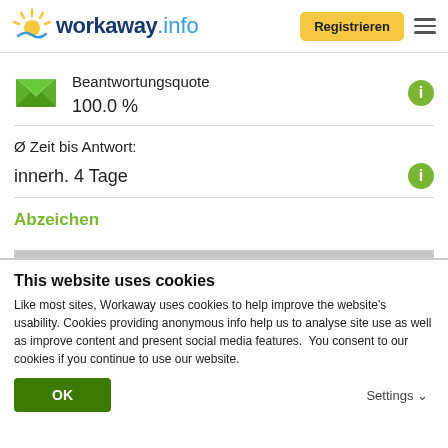workaway.info — Registrieren
Beantwortungsquote
100.0 %
Ø Zeit bis Antwort:
innerh. 4 Tage
Abzeichen
This website uses cookies
Like most sites, Workaway uses cookies to help improve the website's usability. Cookies providing anonymous info help us to analyse site use as well as improve content and present social media features.  You consent to our cookies if you continue to use our website.
OK
Settings